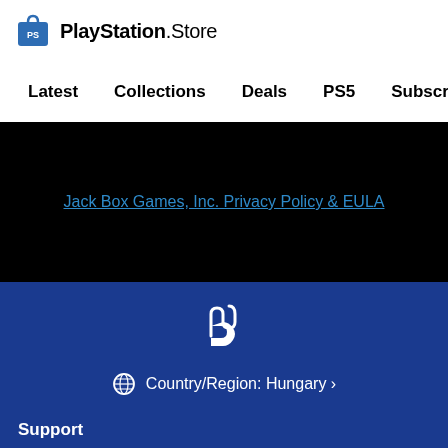PlayStation.Store
Latest
Collections
Deals
PS5
Subscriptions
Jack Box Games, Inc. Privacy Policy & EULA
[Figure (logo): PlayStation white logo mark on blue background]
Country/Region: Hungary >
Support